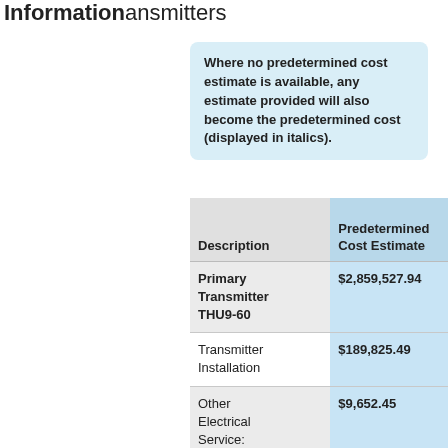Information Transmitters
Where no predetermined cost estimate is available, any estimate provided will also become the predetermined cost (displayed in italics).
| Description | Predetermined Cost Estimate | Estimated Cost | Estimated Cost Justification |
| --- | --- | --- | --- |
| Primary Transmitter THU9-60 | $2,859,527.94 | $1,264,970.94 |  |
| Transmitter Installation | $189,825.49 | $189,825.49 | N/A |
| Other Electrical Service: Electrical Connectivity to new transmitter | $9,652.45 | $9,652.45 | Electrical connection costs are reflected the installation cost |